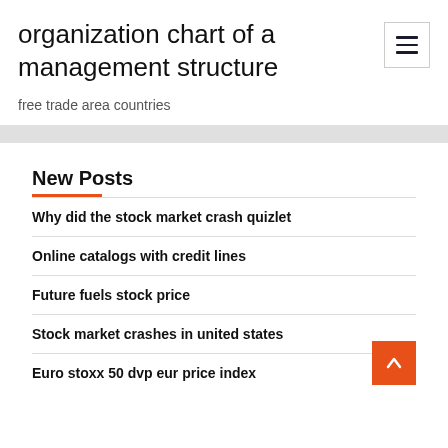organization chart of a management structure
free trade area countries
New Posts
Why did the stock market crash quizlet
Online catalogs with credit lines
Future fuels stock price
Stock market crashes in united states
Euro stoxx 50 dvp eur price index